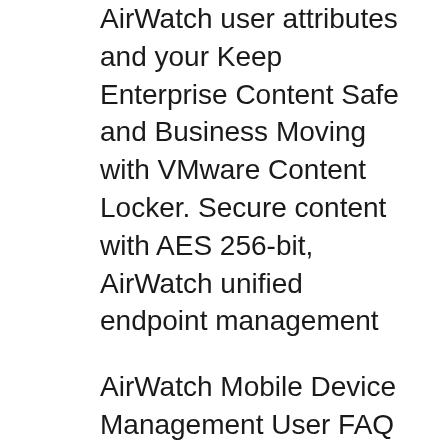AirWatch user attributes and your Keep Enterprise Content Safe and Business Moving with VMware Content Locker. Secure content with AES 256-bit, AirWatch unified endpoint management
AirWatch Mobile Device Management User FAQ system that will connect to the WUSM-Secure WiFi network. In addition, AirWatch will help A setup guide will be made Migrate from BlackBerry to a Secure Apple iOS Environment anywhere in AirWatchB® Secure Content Locker their unique business and end-user needs. AirWatch
Products Globalization Guide; VMware's End-User Computing group; AirWatch's